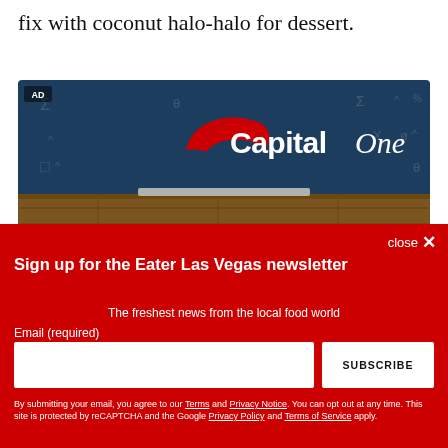fix with coconut halo-halo for dessert.
[Figure (screenshot): Capital One advertisement banner with dark navy blue background, Capital One logo (red swoosh with white bold 'Capital' and italic 'One' text), and wood floor visible at the bottom. AD label in top-left corner.]
close ×
Sign up for the Eater Las Vegas newsletter
The freshest news from the local food world
Email (required)
SUBSCRIBE
By submitting your email, you agree to our Terms and Privacy Notice. You can opt out at any time. This site is protected by reCAPTCHA and the Google Privacy Policy and Terms of Service apply.